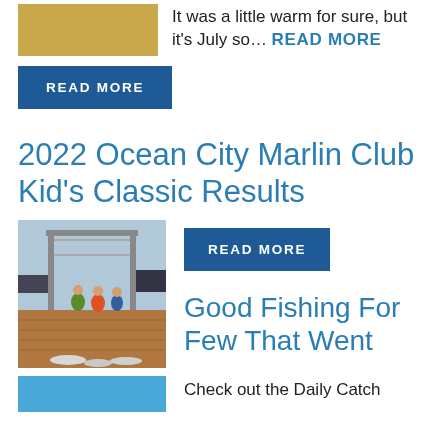[Figure (photo): Partial image of a golden/yellow background photo, cropped at top]
It was a little warm for sure, but it’s July so… READ MORE
READ MORE
2022 Ocean City Marlin Club Kid’s Classic Results
[Figure (photo): People standing on a dock/pier with fish laid out, boats visible in background]
READ MORE
Good Fishing For Few That Went
[Figure (photo): Blue water/ocean image, partially visible at bottom]
Check out the Daily Catch